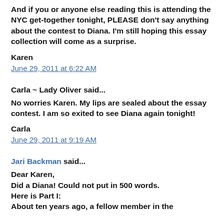And if you or anyone else reading this is attending the NYC get-together tonight, PLEASE don't say anything about the contest to Diana. I'm still hoping this essay collection will come as a surprise.
Karen
June 29, 2011 at 6:22 AM
Carla ~ Lady Oliver said...
No worries Karen. My lips are sealed about the essay contest. I am so exited to see Diana again tonight!
Carla
June 29, 2011 at 9:19 AM
Jari Backman said...
Dear Karen,
Did a Diana! Could not put in 500 words.
Here is Part I:
About ten years ago, a fellow member in the